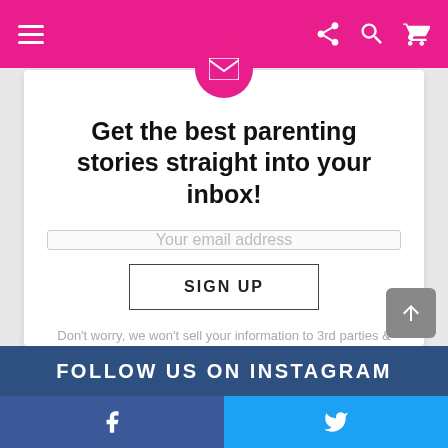Navigation bar with hamburger menu, share, search, and cart icons
[Figure (illustration): Pink circle with white envelope/email icon centered at top of card]
Get the best parenting stories straight into your inbox!
Your email address
SIGN UP
Don't worry, we won't sell your information to 3rd parties & we definitely don't spam :)
FOLLOW US ON INSTAGRAM
Facebook and Twitter social share bar